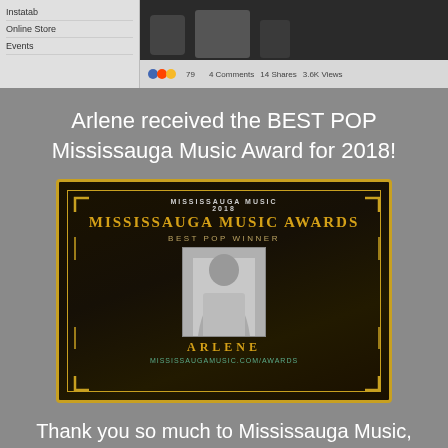[Figure (screenshot): Mobile app screenshot showing a sidebar with Instatab, Online Store, Events menu items, and a Facebook-style video post preview with reaction icons, 4 Comments, 14 Shares, 3.6K Views]
Arlene received the BEST POP Mississauga Music Award for 2018!
[Figure (photo): Mississauga Music Awards 2018 award graphic with gold border, 'BEST POP WINNER' text, a black and white photo of Arlene, her name in gold letters, and the URL mississaugamusic.com/awards]
Thank you so much to Mississauga Music, Deme Nath, Chris Wulff, Mississauga Arts Council City of Mississauga